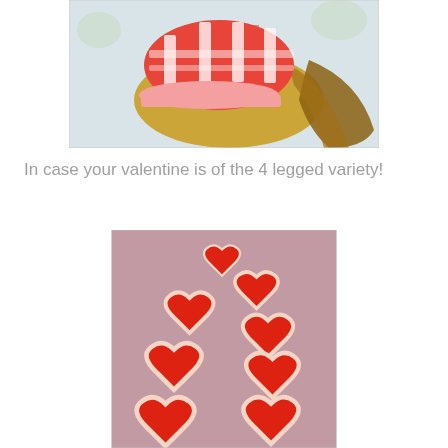[Figure (photo): A dog wearing a red and white checkered/striped crocheted sweater or hat, with long golden/brown fur visible underneath, lying on a light surface with floral patterns]
In case your valentine is of the 4 legged variety!
[Figure (photo): A garland or chain of crocheted red hearts with white/cream lace edging, arranged in a cascading diagonal pattern on a pink/mauve fabric background]